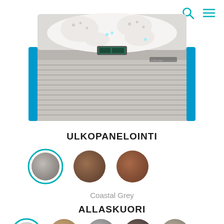[Figure (photo): Overhead/angled view of a hot tub/spa with white interior shell, blue corner accents, silver/grey ribbed exterior panels, and a control panel on the front. Brand logo visible on the side.]
ULKOPANELOINTI
[Figure (other): Three circular color swatches for exterior paneling options. First swatch (selected, teal border): Coastal Grey. Second: brown wood. Third: reddish-brown wood.]
Coastal Grey
ALLASKUORI
[Figure (other): Five circular color swatches for pool shell options (partially visible): white/grey, tan/beige, medium grey, dark brown, and taupe. First swatch has teal selection border.]